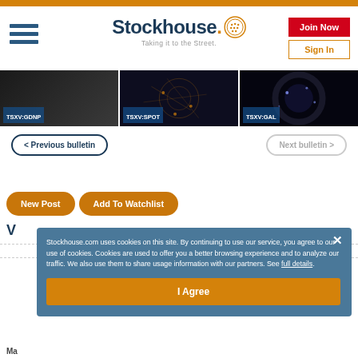[Figure (screenshot): Stockhouse.com website screenshot showing header with logo, navigation, ticker image row with TSXV:GDNP, TSXV:SPOT, TSXV:GAL, bulletin navigation buttons, action buttons, and a cookie consent overlay dialog]
Stockhouse. Taking it to the Street.
Join Now
Sign In
TSXV:GDNP
TSXV:SPOT
TSXV:GAL
< Previous bulletin
Next bulletin >
New Post
Add To Watchlist
Stockhouse.com uses cookies on this site. By continuing to use our service, you agree to our use of cookies. Cookies are used to offer you a better browsing experience and to analyze our traffic. We also use them to share usage information with our partners. See full details.
I Agree
Ma